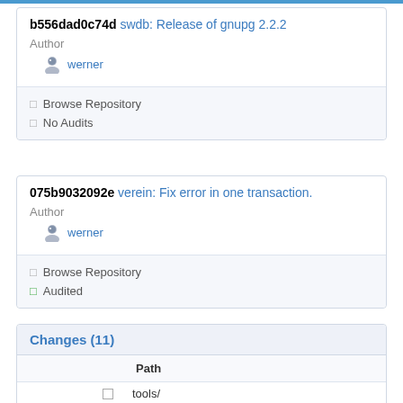b556dad0c74d swdb: Release of gnupg 2.2.2
Author
werner
Browse Repository
No Audits
075b9032092e verein: Fix error in one transaction.
Author
werner
Browse Repository
Audited
Changes (11)
|  |  |  | Path |
| --- | --- | --- | --- |
|  |  |  | tools/ |
| □ | □ | □ | ftp-indexer.c |
|  |  |  | web/ |
| □ | □ | □ | index.org |